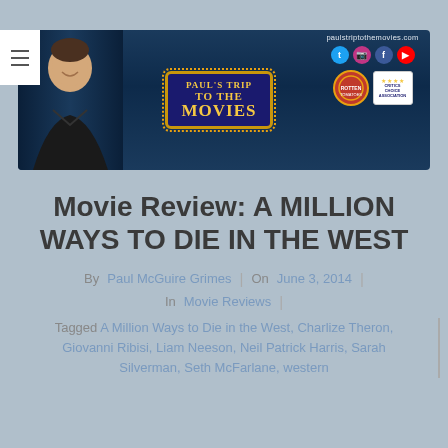[Figure (illustration): Paul's Trip to the Movies website banner with a smiling man on the left, a decorative marquee-style sign reading PAUL'S TRIP TO THE MOVIES in the center, and social media icons plus badge logos on the right. Site URL paulstriptothemovies.com shown.]
Movie Review: A MILLION WAYS TO DIE IN THE WEST
By Paul McGuire Grimes | On June 3, 2014 | In Movie Reviews |
Tagged A Million Ways to Die in the West, Charlize Theron, Giovanni Ribisi, Liam Neeson, Neil Patrick Harris, Sarah Silverman, Seth McFarlane, western